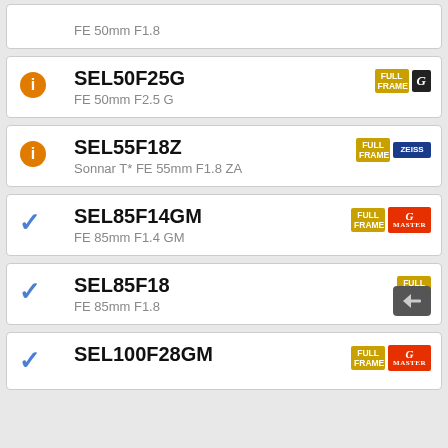FE 50mm F1.8
SEL50F25G — FE 50mm F2.5 G
SEL55F18Z — Sonnar T* FE 55mm F1.8 ZA
SEL85F14GM — FE 85mm F1.4 GM
SEL85F18 — FE 85mm F1.8
SEL100F28GM